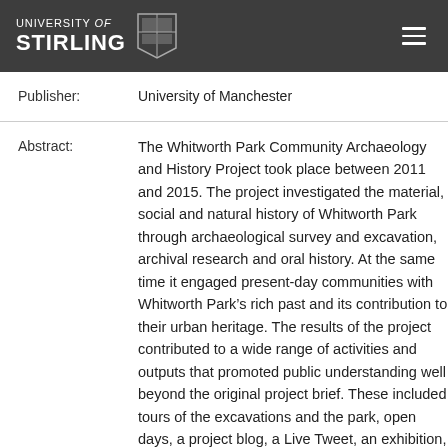UNIVERSITY of STIRLING
| Field | Value |
| --- | --- |
| Publisher: | University of Manchester |
| Abstract: | The Whitworth Park Community Archaeology and History Project took place between 2011 and 2015. The project investigated the material, social and natural history of Whitworth Park through archaeological survey and excavation, archival research and oral history. At the same time it engaged present-day communities with Whitworth Park&rsquo;s rich past and its contribution to their urban heritage. The results of the project contributed to a wide range of activities and outputs that promoted public understanding well beyond the original project brief. These included tours of the excavations and the park, open days, a project blog, a Live Tweet, an exhibition, a public leaflet, a panel display board, three short films, a series of lectures and workshops, and a number of preliminary publications addressing popular, professional and academic audiences. The project touched the lives of numerous people in diverse ways, ranging from the intensive |